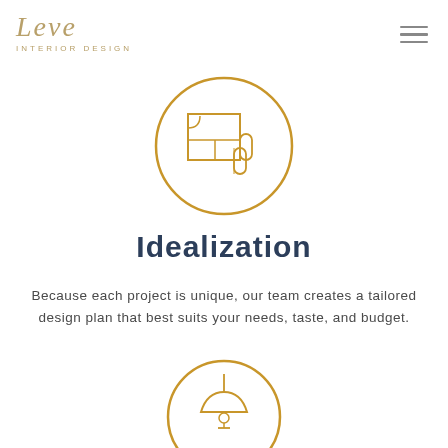Leve INTERIOR DESIGN
[Figure (illustration): A circular golden icon containing a floor plan / blueprint with fabric rolls, representing interior design idealization]
Idealization
Because each project is unique, our team creates a tailored design plan that best suits your needs, taste, and budget.
[Figure (illustration): A circular golden icon containing a pendant lamp, representing interior design mood/products research]